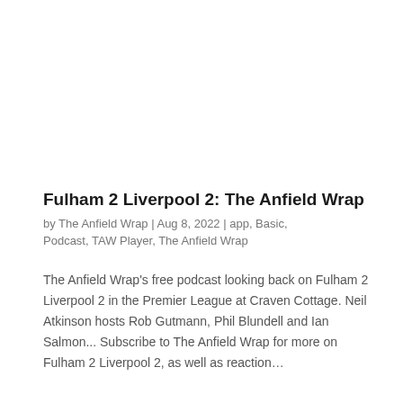Fulham 2 Liverpool 2: The Anfield Wrap
by The Anfield Wrap | Aug 8, 2022 | app, Basic, Podcast, TAW Player, The Anfield Wrap
The Anfield Wrap's free podcast looking back on Fulham 2 Liverpool 2 in the Premier League at Craven Cottage. Neil Atkinson hosts Rob Gutmann, Phil Blundell and Ian Salmon... Subscribe to The Anfield Wrap for more on Fulham 2 Liverpool 2, as well as reaction…